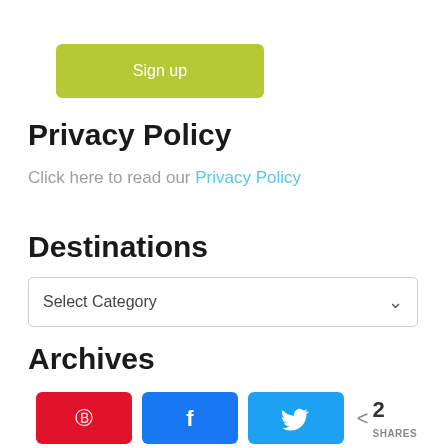[Figure (other): Green/olive colored 'Sign up' button]
Privacy Policy
Click here to read our Privacy Policy
Destinations
[Figure (other): Select Category dropdown widget]
Archives
[Figure (other): Social sharing bar with Pinterest, Facebook, Twitter buttons and share count of 2]